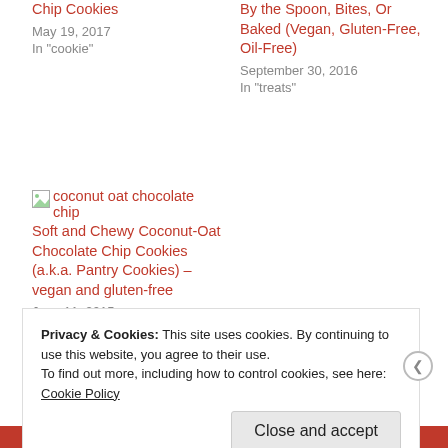Chip Cookies
May 19, 2017
In "cookie"
By the Spoon, Bites, Or Baked (Vegan, Gluten-Free, Oil-Free)
September 30, 2016
In "treats"
[Figure (other): Broken image placeholder for coconut oat chocolate chip]
Soft and Chewy Coconut-Oat Chocolate Chip Cookies (a.k.a. Pantry Cookies) – vegan and gluten-free
June 11, 2015
In "Dessert"
Privacy & Cookies: This site uses cookies. By continuing to use this website, you agree to their use.
To find out more, including how to control cookies, see here: Cookie Policy
Close and accept